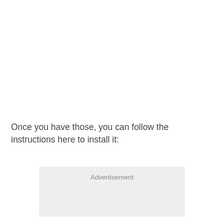Once you have those, you can follow the instructions here to install it:
[Figure (other): Advertisement placeholder box with light grey background and the label 'Advertisement' at the top center.]